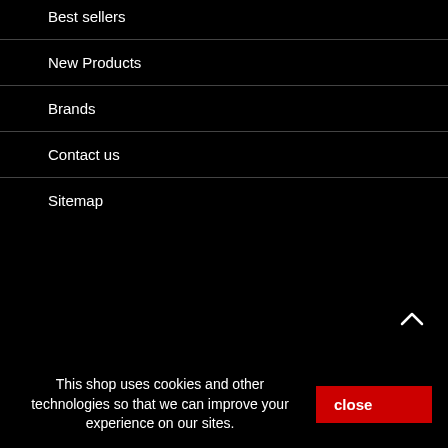Best sellers
New Products
Brands
Contact us
Sitemap
This shop uses cookies and other technologies so that we can improve your experience on our sites.